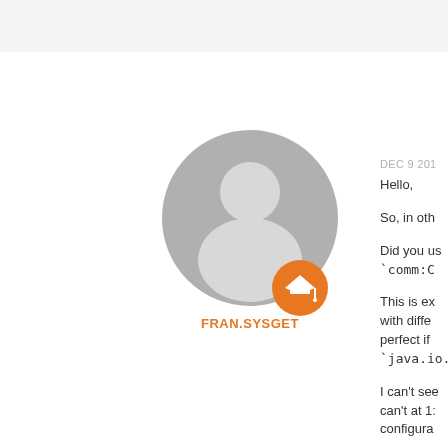[Figure (illustration): User avatar: gray silhouette of a person in a circle, with an orange graduation cap badge icon below-right. Username FRAN.SYSGET in orange text below.]
DEC 9 201
Hello,
So, in oth
Did you us `comm:C
This is ex with diffe perfect if `java.io.IO
I can't see can't at 1: configura
I think th Maybe I h
Also I am got the w
Which are failed in t
I need to t